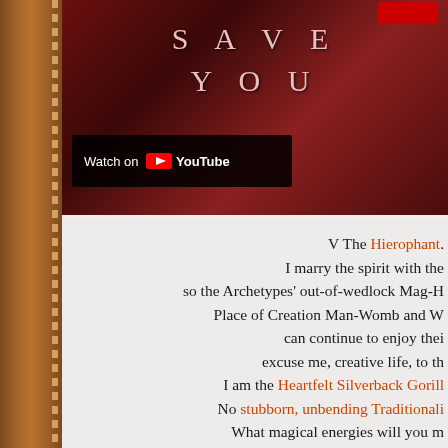[Figure (screenshot): YouTube video thumbnail with dark red fantasy background showing 'SAVE YOU' text in large spaced letters. A 'Watch on YouTube' badge is visible at the bottom left. A red button appears in the top right corner.]
V The Hierophant. I marry the spirit with the [body] so the Archetypes' out-of-wedlock Mag-H[ic] Place of Creation Man-Womb and W[omb] can continue to enjoy thei[r] excuse me, creative life, to th[e] I am the Heartfelt Silverback Gorilli[a] No stubborn, unbending Traditionali[st] What magical energies will you m[ake] from your down-to-earth-Spirit Man-Wo[mb] Place of Creation so they become real out her[e]